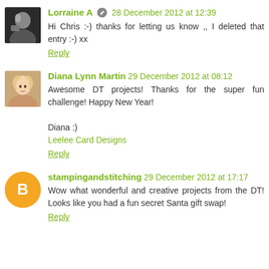[Figure (photo): Profile photo of Lorraine A, a woman]
Lorraine A  28 December 2012 at 12:39
Hi Chris :-) thanks for letting us know ,, I deleted that entry :-) xx
Reply
[Figure (photo): Profile photo of Diana Lynn Martin, a blonde woman]
Diana Lynn Martin  29 December 2012 at 08:12
Awesome DT projects! Thanks for the super fun challenge! Happy New Year!

Diana :)
Leelee Card Designs
Reply
[Figure (logo): Orange circle Blogger icon for stampingandstitching]
stampingandstitching  29 December 2012 at 17:17
Wow what wonderful and creative projects from the DT! Looks like you had a fun secret Santa gift swap!
Reply